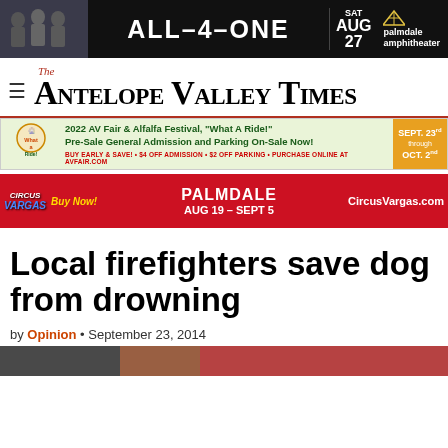[Figure (infographic): Top advertisement banner for All-4-One concert at Palmdale Amphitheater, SAT AUG 27, black background with stylized text]
The Antelope Valley Times
[Figure (infographic): 2022 AV Fair & Alfalfa Festival 'What A Ride!' Pre-Sale General Admission and Parking On-Sale Now! BUY EARLY & SAVE! $4 OFF ADMISSION + $2 OFF PARKING. PURCHASE ONLINE AT AVFAIR.COM. SEPT. 23rd through OCT. 2nd]
[Figure (infographic): Circus Vargas advertisement: PALMDALE AUG 19 – SEPT 5, Buy Now!, CircusVargas.com, red background]
Local firefighters save dog from drowning
by Opinion • September 23, 2014
[Figure (photo): Partial photo at bottom of page, partially cut off]